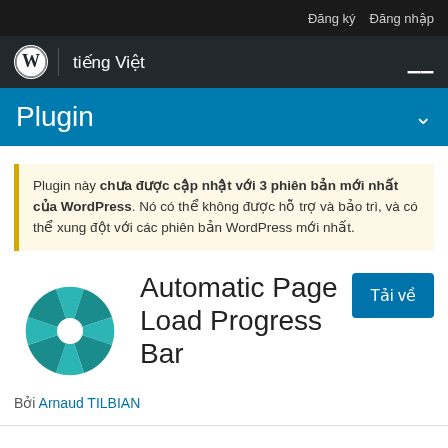Đăng ký  Đăng nhập
tiếng Việt
Plugin
Plugin này chưa được cập nhật với 3 phiên bản mới nhất của WordPress. Nó có thể không được hỗ trợ và bảo trì, và có thể xung đột với các phiên bản WordPress mới nhất.
Automatic Page Load Progress Bar
Bởi Arnaud TILBIAN